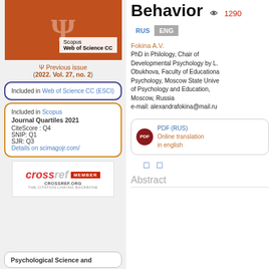[Figure (illustration): Journal cover with orange/brown background, psi symbol, Scopus and Web of Science CC badges]
Previous issue (2022. Vol. 27, no. 2)
Included in Web of Science CC (ESCI)
Included in Scopus
Journal Quartiles 2021
CiteScore : Q4
SNIP: Q1
SJR: Q3
Details on scimagojr.com/
[Figure (logo): CrossRef Member logo with red badge]
Psychological Science and
Behavior
1290
RUS  ENG
Fokina A.V.
PhD in Philology, Chair of Developmental Psychology by L. Obukhova, Faculty of Educational Psychology, Moscow State University of Psychology and Education, Moscow, Russia
e-mail: alexandrafokina@mail.ru
PDF (RUS)
Online translation in english
Abstract